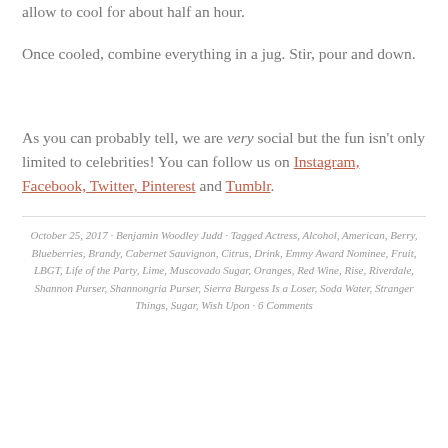allow to cool for about half an hour.
Once cooled, combine everything in a jug. Stir, pour and down.
As you can probably tell, we are very social but the fun isn't only limited to celebrities! You can follow us on Instagram, Facebook, Twitter, Pinterest and Tumblr.
October 25, 2017 · Benjamin Woodley Judd · Tagged Actress, Alcohol, American, Berry, Blueberries, Brandy, Cabernet Sauvignon, Citrus, Drink, Emmy Award Nominee, Fruit, LBGT, Life of the Party, Lime, Muscovado Sugar, Oranges, Red Wine, Rise, Riverdale, Shannon Purser, Shannongria Purser, Sierra Burgess Is a Loser, Soda Water, Stranger Things, Sugar, Wish Upon · 6 Comments